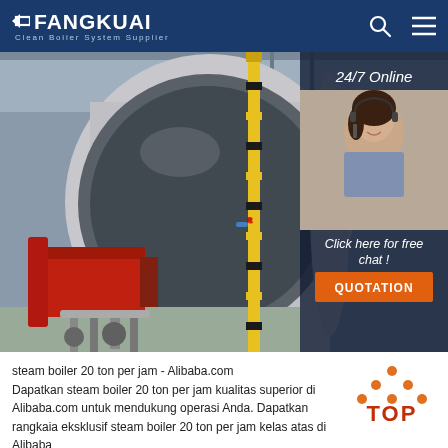FANGKUAI Clean Boiler System Supplier
[Figure (photo): Industrial steam boiler in factory setting with red burner unit on left, large cylindrical boiler body, yellow safety poles, and pipe systems. Overlay panel on right shows 24/7 Online customer service agent with headset, 'Click here for free chat!' text, and orange QUOTATION button.]
steam boiler 20 ton per jam - Alibaba.com
Dapatkan steam boiler 20 ton per jam kualitas superior di Alibaba.com untuk mendukung operasi Anda. Dapatkan rangkaia eksklusif steam boiler 20 ton per jam kelas atas di Alibaba